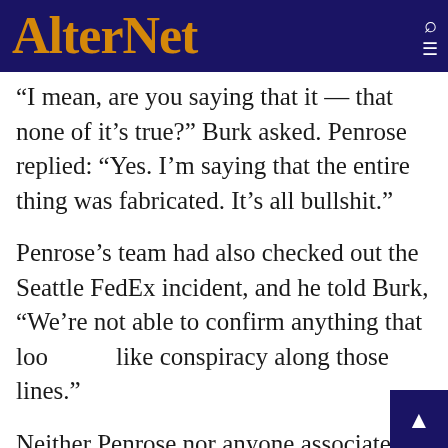AlterNet
“I mean, are you saying that it — that none of it’s true?” Burk asked. Penrose replied: “Yes. I’m saying that the entire thing was fabricated. It’s all bullshit.”
Penrose’s team had also checked out the Seattle FedEx incident, and he told Burk, “We’re not able to confirm anything that looks like conspiracy along those lines.”
Neither Penrose nor anyone associated with the coalition ever publicly released the findings of the investigation. (Penrose did not respond